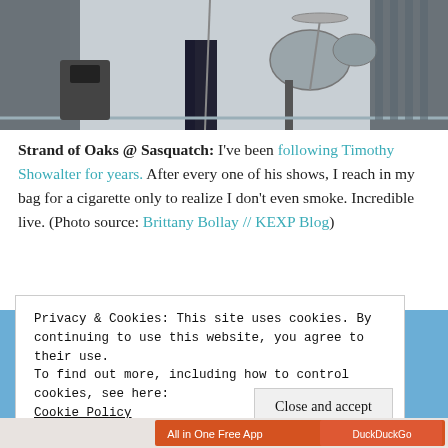[Figure (photo): Concert photo showing a performer on stage with drums and equipment, black and white tones]
Strand of Oaks @ Sasquatch: I've been following Timothy Showalter for years. After every one of his shows, I reach in my bag for a cigarette only to realize I don't even smoke. Incredible live. (Photo source: Brittany Bollay // KEXP Blog)
[Figure (photo): Space Needle or similar circular architectural structure against a blue sky]
Privacy & Cookies: This site uses cookies. By continuing to use this website, you agree to their use.
To find out more, including how to control cookies, see here:
Cookie Policy
Close and accept